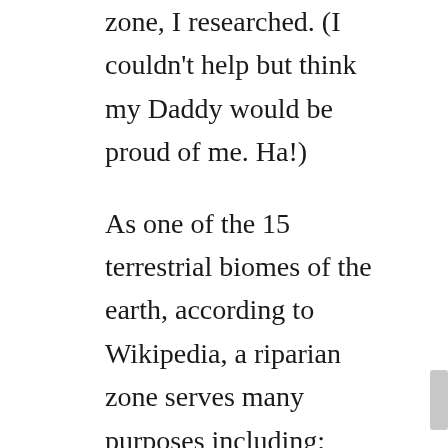zone, I researched. (I couldn't help but think my Daddy would be proud of me. Ha!)
As one of the 15 terrestrial biomes of the earth, according to Wikipedia, a riparian zone serves many purposes including:
soil stabilization, restoration, and protecting aquatic environments from excessive sedimentation, polluted surface runoff, and erosion.
These zones act as a “sacrificial erosion